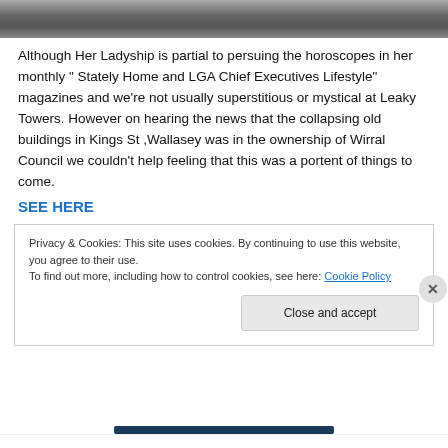[Figure (photo): Black and white photo strip at top of page, appears to show wooden planks or similar structure]
Although Her Ladyship is partial to persuing the horoscopes in her monthly " Stately Home and LGA Chief Executives Lifestyle" magazines and we're not usually superstitious or mystical at Leaky Towers. However on hearing the news that the collapsing old buildings in Kings St ,Wallasey was in the ownership of Wirral Council we couldn't help feeling that this was a portent of things to come.
SEE HERE
Privacy & Cookies: This site uses cookies. By continuing to use this website, you agree to their use.
To find out more, including how to control cookies, see here: Cookie Policy
Close and accept